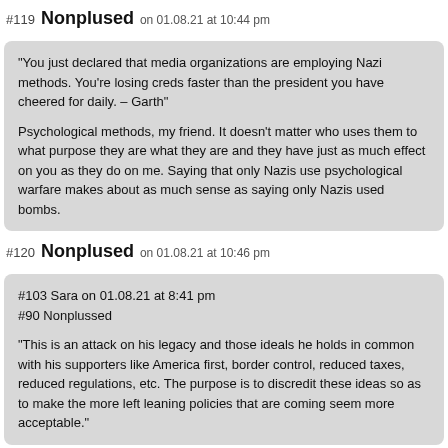#119 Nonplused on 01.08.21 at 10:44 pm
“You just declared that media organizations are employing Nazi methods. You’re losing creds faster than the president you have cheered for daily. – Garth”

Psychological methods, my friend. It doesn’t matter who uses them to what purpose they are what they are and they have just as much effect on you as they do on me. Saying that only Nazis use psychological warfare makes about as much sense as saying only Nazis used bombs.
#120 Nonplused on 01.08.21 at 10:46 pm
#103 Sara on 01.08.21 at 8:41 pm
#90 Nonplussed

“This is an attack on his legacy and those ideals he holds in common with his supporters like America first, border control, reduced taxes, reduced regulations, etc. The purpose is to discredit these ideas so as to make the more left leaning policies that are coming seem more acceptable.”